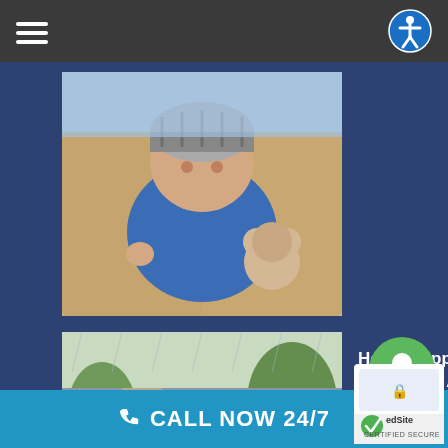Navigation bar with hamburger menu and accessibility icon
[Figure (photo): Baby in a car seat wearing a hat and blue outfit, lying back in a child safety seat]
[Figure (photo): Two people standing outside near a car accident scene with damaged vehicles]
How to Approach an Eyewitness after a Car Accident
[Figure (photo): Partial photo of a person, partially visible at the bottom of the page]
CALL NOW 24/7